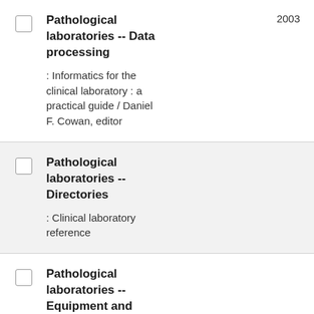Pathological laboratories -- Data processing : Informatics for the clinical laboratory : a practical guide / Daniel F. Cowan, editor 2003
Pathological laboratories -- Directories : Clinical laboratory reference
Pathological laboratories -- Equipment and supplies -- Directories